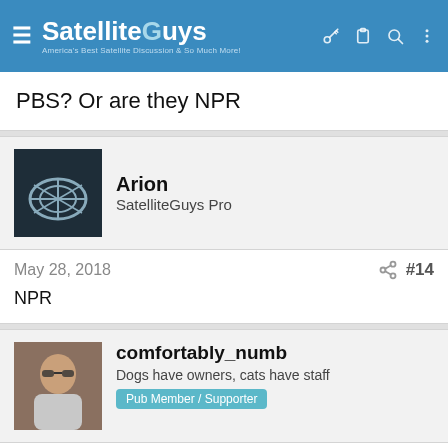SatelliteGuys - America's Best Satellite Discussion & So Much More!
PBS? Or are they NPR
Arion
SatelliteGuys Pro
May 28, 2018  #14
NPR
comfortably_numb
Dogs have owners, cats have staff
Pub Member / Supporter
Jun 4, 2018  #15